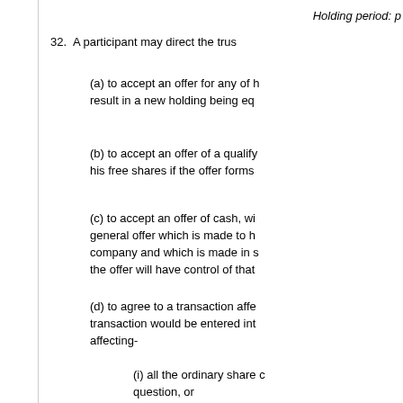Holding period: p
32. A participant may direct the trus
(a) to accept an offer for any of h result in a new holding being eq
(b) to accept an offer of a qualify his free shares if the offer forms
(c) to accept an offer of cash, wi general offer which is made to h company and which is made in s the offer will have control of that
(d) to agree to a transaction affe transaction would be entered int affecting-
(i) all the ordinary share c question, or
(ii) all the shares, or all th identified otherwise than b employee share ownersh